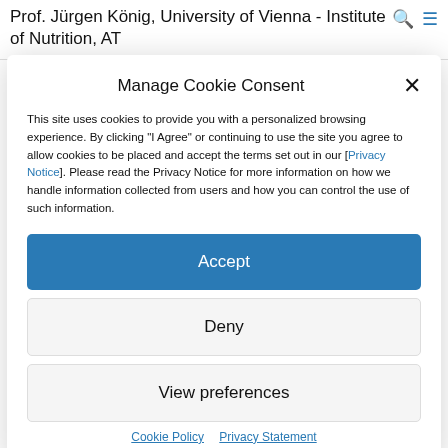Prof. Jürgen König, University of Vienna - Institute of Nutrition, AT
Manage Cookie Consent
This site uses cookies to provide you with a personalized browsing experience. By clicking "I Agree" or continuing to use the site you agree to allow cookies to be placed and accept the terms set out in our [Privacy Notice]. Please read the Privacy Notice for more information on how we handle information collected from users and how you can control the use of such information.
Accept
Deny
View preferences
Cookie Policy   Privacy Statement